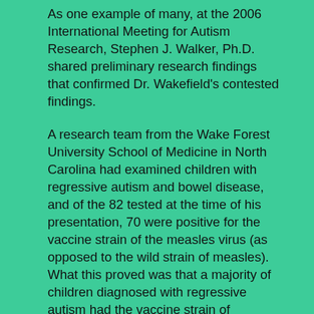As one example of many, at the 2006 International Meeting for Autism Research, Stephen J. Walker, Ph.D. shared preliminary research findings that confirmed Dr. Wakefield's contested findings.
A research team from the Wake Forest University School of Medicine in North Carolina had examined children with regressive autism and bowel disease, and of the 82 tested at the time of his presentation, 70 were positive for the vaccine strain of the measles virus (as opposed to the wild strain of measles). What this proved was that a majority of children diagnosed with regressive autism had the vaccine strain of measles in their gastrointestinal tract, which is exactly what Dr. Wakefield had found back in 1998.
This doesn't automatically prove the vaccine was the cause of the autism, but it does at the very least suggest a link between these three factors—the presence of MMR vaccine strain of measles in the digestive tract; chronic bowel